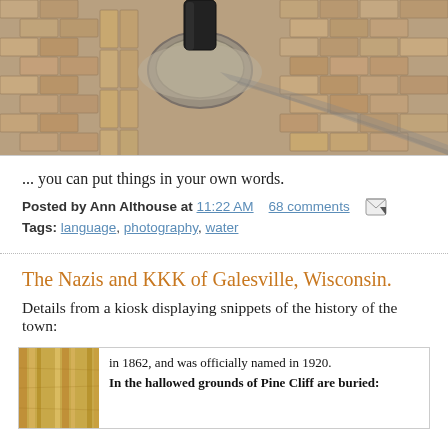[Figure (photo): Close-up photo of a brick paver surface with a black metal pole base in the center, surrounded by gravel, with shadow falling to the right.]
... you can put things in your own words.
Posted by Ann Althouse at 11:22 AM   68 comments
Tags: language, photography, water
The Nazis and KKK of Galesville, Wisconsin.
Details from a kiosk displaying snippets of the history of the town:
[Figure (photo): Partial image of wood grain texture on the left, next to text reading 'in 1862, and was officially named in 1920. In the hallowed grounds of Pine Cliff are buried:']